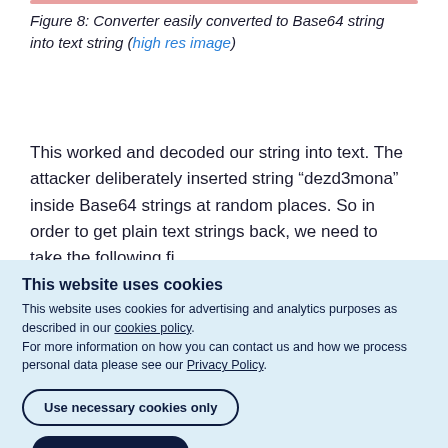Figure 8: Converter easily converted to Base64 string into text string (high res image)
This worked and decoded our string into text. The attacker deliberately inserted string “dezd3mona” inside Base64 strings at random places. So in order to get plain text strings back, we need to take the following fi...
This website uses cookies
This website uses cookies for advertising and analytics purposes as described in our cookies policy.
For more information on how you can contact us and how we process personal data please see our Privacy Policy.